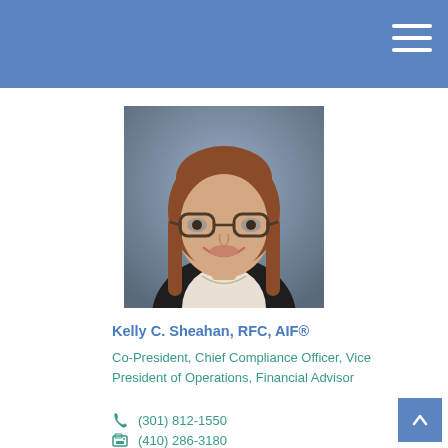[Figure (photo): Professional headshot of Kelly C. Sheahan, a woman with red-brown hair and glasses, wearing a dark blazer over a light-colored top, smiling, against a blurred blue-grey background.]
Kelly C. Sheahan, RFC, AIF®
Co-President, Chief Compliance Officer, Vice President of Operations, Financial Advisor
(301) 812-1550
(410) 286-3180
kelly@echealth...